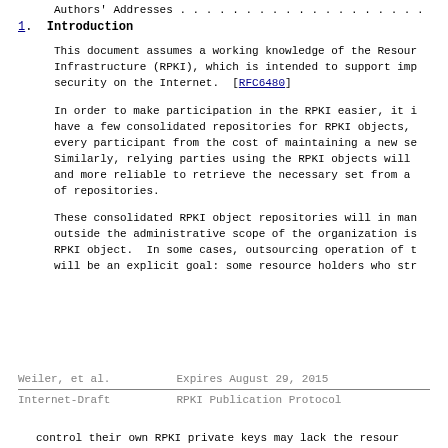Authors' Addresses . . . . . . . . . . . . . . . . . . .
1.  Introduction
This document assumes a working knowledge of the Resour Infrastructure (RPKI), which is intended to support imp security on the Internet.  [RFC6480]
In order to make participation in the RPKI easier, it i have a few consolidated repositories for RPKI objects, every participant from the cost of maintaining a new se Similarly, relying parties using the RPKI objects will and more reliable to retrieve the necessary set from a of repositories.
These consolidated RPKI object repositories will in man outside the administrative scope of the organization is RPKI object.  In some cases, outsourcing operation of t will be an explicit goal: some resource holders who str
Weiler, et al.          Expires August 29, 2015
Internet-Draft          RPKI Publication Protocol
control their own RPKI private keys may lack the resour